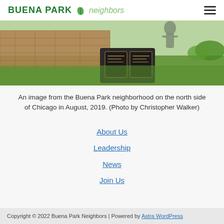BUENA PARK neighbors
[Figure (photo): Outdoor scene from Buena Park neighborhood: stone wall, green grass, a dark memorial or monument with plaques, and a bronze statue in background]
An image from the Buena Park neighborhood on the north side of Chicago in August, 2019. (Photo by Christopher Walker)
About Us
Leadership
News
Join Us
Copyright © 2022 Buena Park Neighbors | Powered by Astra WordPress